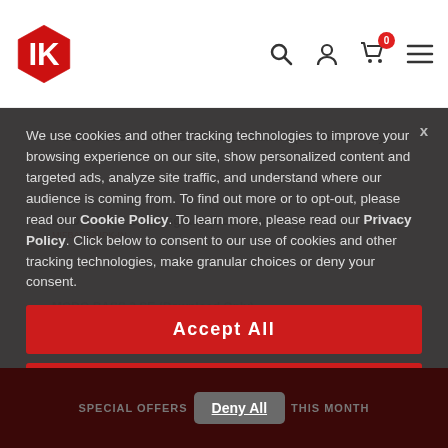IK Multimedia logo, search icon, user icon, cart (0), menu
MODO BASS 2 + MODO DRUM 1.5 Bundle (Download Only)
MODO BASS 2 Crossgrade (Download Only)
MIFBASS2-IDK-IN
MODO BASS 2 SE (Download Only)
We use cookies and other tracking technologies to improve your browsing experience on our site, show personalized content and targeted ads, analyze site traffic, and understand where our audience is coming from. To find out more or to opt-out, please read our Cookie Policy. To learn more, please read our Privacy Policy. Click below to consent to our use of cookies and other tracking technologies, make granular choices or deny your consent.
Accept All
Manage Settings
SPECIAL OFFERS   Deny All   THIS MONTH